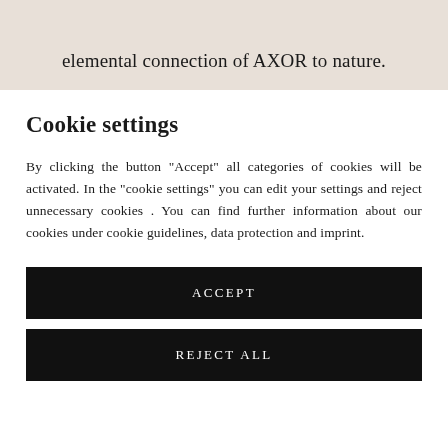elemental connection of AXOR to nature.
Cookie settings
By clicking the button "Accept" all categories of cookies will be activated. In the "cookie settings" you can edit your settings and reject unnecessary cookies . You can find further information about our cookies under cookie guidelines, data protection and imprint.
ACCEPT
REJECT ALL